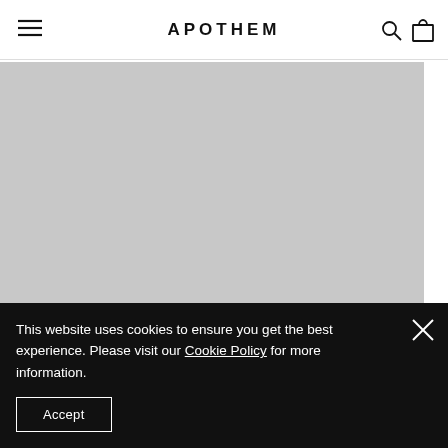APOTHEM
[Figure (photo): Large grey placeholder hero image area below the navigation header]
This website uses cookies to ensure you get the best experience. Please visit our Cookie Policy for more information.
Accept